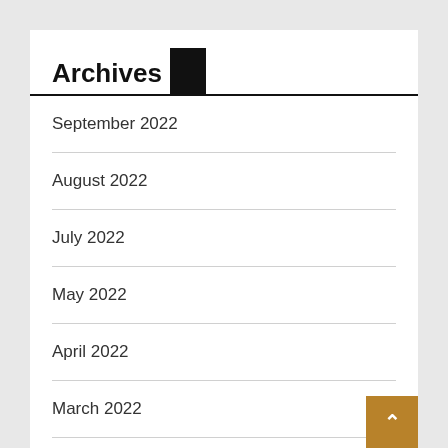Archives
September 2022
August 2022
July 2022
May 2022
April 2022
March 2022
February 2022